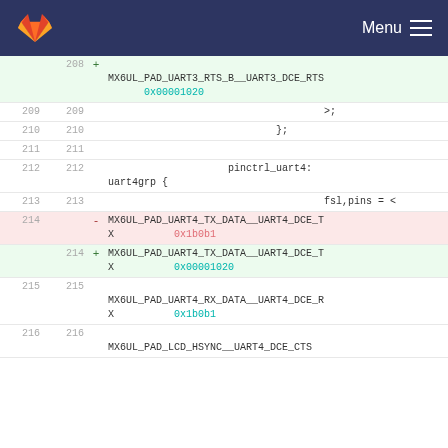GitLab Menu
208 + MX6UL_PAD_UART3_RTS_B__UART3_DCE_RTS 0x00001020
209 209 >;
210 210 };
211 211
212 212 pinctrl_uart4: uart4grp { fsl,pins = <
213 213 fsl,pins = <
214 - MX6UL_PAD_UART4_TX_DATA__UART4_DCE_TX 0x1b0b1
214 + MX6UL_PAD_UART4_TX_DATA__UART4_DCE_TX 0x00001020
215 215 MX6UL_PAD_UART4_RX_DATA__UART4_DCE_RX 0x1b0b1
216 216 MX6UL_PAD_LCD_HSYNC__UART4_DCE_CTS